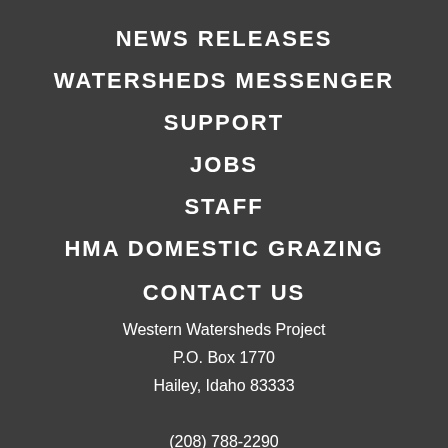NEWS RELEASES
WATERSHEDS MESSENGER
SUPPORT
JOBS
STAFF
HMA DOMESTIC GRAZING
CONTACT US
Western Watersheds Project
P.O. Box 1770
Hailey, Idaho 83333

(208) 788-2290